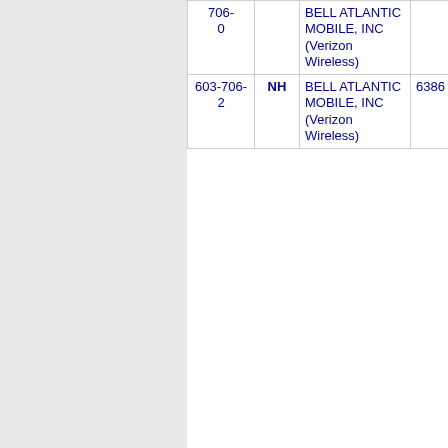| Phone | State | Carrier | Num | City |
| --- | --- | --- | --- | --- |
| 603-706-0 |  | BELL ATLANTIC MOBILE, INC (Verizon Wireless) |  |  |
| 603-706-2 | NH | BELL ATLANTIC MOBILE, INC (Verizon Wireless) | 6386 | RAYMOND |